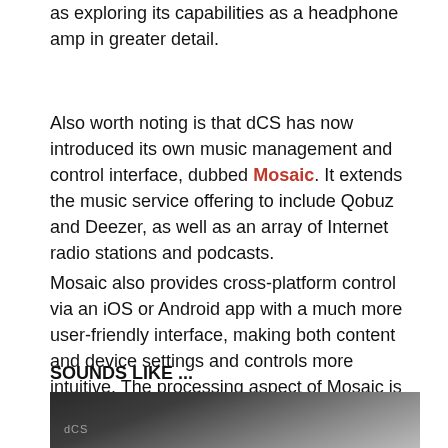as exploring its capabilities as a headphone amp in greater detail.
Also worth noting is that dCS has now introduced its own music management and control interface, dubbed Mosaic. It extends the music service offering to include Qobuz and Deezer, as well as an array of Internet radio stations and podcasts.
Mosaic also provides cross-platform control via an iOS or Android app with a much more user-friendly interface, making both content and device settings and controls more intuitive. The processing aspect of Mosaic is already contained in the existing dCS streaming products, and is firmware-activated.
SOUNDS LIKE ...
[Figure (photo): Close-up photo of a dark/black audio device (dCS streamer/DAC) with a silver/aluminum surface visible to the right, and small text on the device face.]